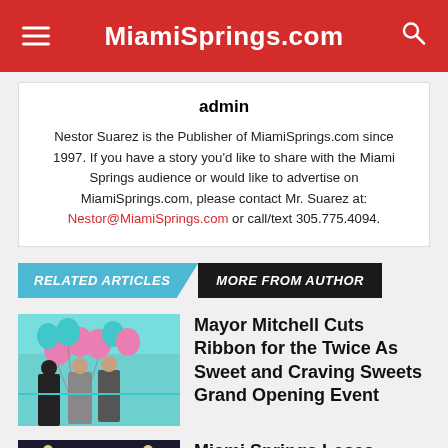MiamiSprings.com
admin
Nestor Suarez is the Publisher of MiamiSprings.com since 1997. If you have a story you'd like to share with the Miami Springs audience or would like to advertise on MiamiSprings.com, please contact Mr. Suarez at: Nestor@MiamiSprings.com or call/text 305.775.4094.
RELATED ARTICLES  MORE FROM AUTHOR
Mayor Mitchell Cuts Ribbon for the Twice As Sweet and Craving Sweets Grand Opening Event
Miami Springs Loses Mayor's Cup to